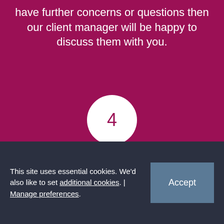have further concerns or questions then our client manager will be happy to discuss them with you.
[Figure (infographic): White circle with the number 4 in dark pink/magenta color, representing step 4 in a process.]
Assessment
Our therapist will then contact you within 24 hours to arrange an assessment visit at home or school, a mixture of formal and
This site uses essential cookies. We'd also like to set additional cookies. | Manage preferences